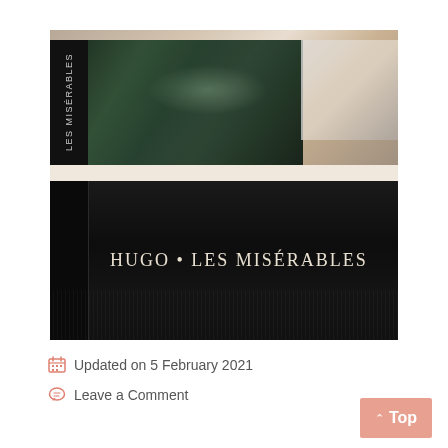[Figure (photo): Close-up photograph of a book spine and cover. The top half shows a green glossy cover with a dark spine label reading 'LES MISÉRABLES' in vertical text, and a clear plastic element in the top right corner. The bottom half shows a black cover with the text 'HUGO • LES MISÉRABLES' in white serif letters. A white horizontal strip separates the two sections.]
Updated on 5 February 2021
Leave a Comment